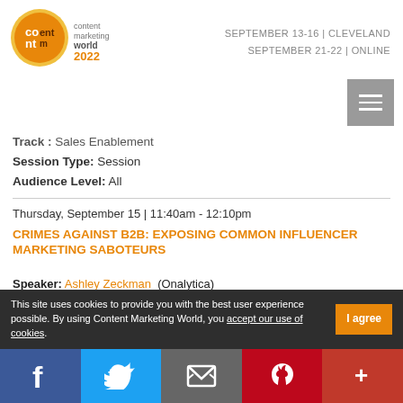[Figure (logo): Content Marketing World 2022 logo with orange circular icon]
SEPTEMBER 13-16 | CLEVELAND
SEPTEMBER 21-22 | ONLINE
Track: Sales Enablement
Session Type: Session
Audience Level: All
Thursday, September 15 | 11:40am - 12:10pm
CRIMES AGAINST B2B: EXPOSING COMMON INFLUENCER MARKETING SABOTEURS
Speaker: Ashley Zeckman (Onalytica)
Location: Room 23
Pass Type: Main Conference Plus, Main Conference, All-Access
This site uses cookies to provide you with the best user experience possible. By using Content Marketing World, you accept our use of cookies.